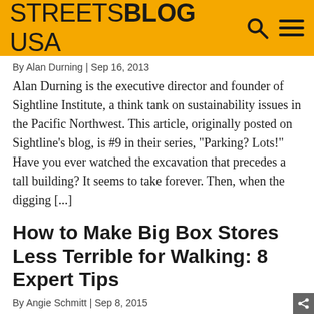STREETSBLOG USA
By Alan Durning | Sep 16, 2013
Alan Durning is the executive director and founder of Sightline Institute, a think tank on sustainability issues in the Pacific Northwest. This article, originally posted on Sightline’s blog, is #9 in their series, “Parking? Lots!” Have you ever watched the excavation that precedes a tall building? It seems to take forever. Then, when the digging [...]
How to Make Big Box Stores Less Terrible for Walking: 8 Expert Tips
By Angie Schmitt | Sep 8, 2015
It’s no coincidence that the most dangerous streets in many communities are the ones in front of big box stores. As a rule, big boxes generate a lot of motor vehicle traffic — and they tend to be a nightmare to navigate without a car. Even though the industry is shifting and some mega